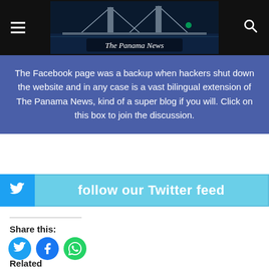The Panama News
[Figure (screenshot): Blue banner with white text: The Facebook page was a backup when hackers shut down the website and in any case is a vast bilingual extension of The Panama News, kind of a super blog if you will. Click on this box to join the discussion.]
[Figure (infographic): Light blue Twitter follow bar with Twitter bird icon on left and text 'follow our Twitter feed']
Share this:
[Figure (infographic): Three social share buttons: Twitter (blue circle), Facebook (blue circle), WhatsApp (green circle)]
Related